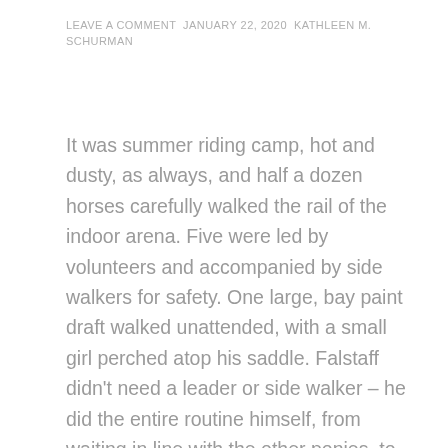LEAVE A COMMENT JANUARY 22, 2020 KATHLEEN M. SCHURMAN
It was summer riding camp, hot and dusty, as always, and half a dozen horses carefully walked the rail of the indoor arena. Five were led by volunteers and accompanied by side walkers for safety. One large, bay paint draft walked unattended, with a small girl perched atop his saddle. Falstaff didn't need a leader or side walker – he did the entire routine himself, from waiting in line with the other ponies, to walking to the mounting ramp, to